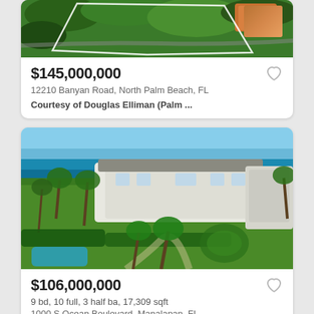[Figure (photo): Aerial view of a large property with green trees, a white polygon outline marking the lot boundaries, and an orange/brown structure visible in upper right.]
$145,000,000
12210 Banyan Road, North Palm Beach, FL
Courtesy of Douglas Elliman (Palm ...
[Figure (photo): Aerial view of an oceanfront estate with a large white mansion, palm trees, lush green lawns, a pool, and blue ocean/sky in the background.]
$106,000,000
9 bd, 10 full, 3 half ba, 17,309 sqft
1000 S Ocean Boulevard, Manalapan, FL